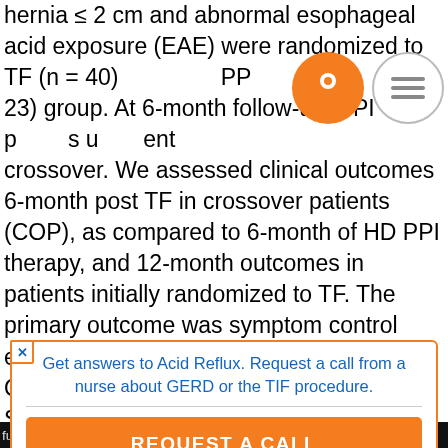hernia ≤ 2 cm and abnormal esophageal acid exposure (EAE) were randomized to TF (n = 40) or PPI (n = 23) group. At 6-month follow-up, PPI patients underwent crossover. We assessed clinical outcomes 6-month post TF in crossover patients (COP), as compared to 6-month of HD PPI therapy, and 12-month outcomes in patients initially randomized to TF. The primary outcome was symptom control evaluated by Reflux Disease Questionnaire and Reflux Symptom Index. Secondary outcomes included healing of esophagitis, normalization of EAE and PPI use after TF. We analyzed 21 COP and 39 TF patients. McNemar's test or Fisher exact test was
[Figure (infographic): Orange circular location pin icon and circular menu icon with three horizontal lines overlaid on top of the text]
Get answers to Acid Reflux. Request a call from a nurse about GERD or the TIF procedure.
REQUEST A CALL
further improved control of regurgitation and of atypical